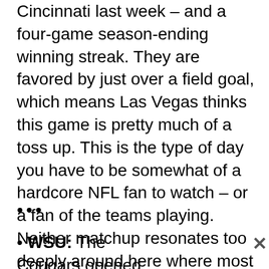Cincinnati last week – and a four-game season-ending winning streak. They are favored by just over a field goal, which means Las Vegas thinks this game is pretty much of a toss up. This is the type of day you have to be somewhat of a hardcore NFL fan to watch – or a fan of the teams playing. Neither matchup resonates too deeply around here where most everyone is taking a deep breath waiting for next Saturday's Seahawks' opener. Luckily, we have some college basketball to fill the void, with Gonzaga headed to Portland this evening and Eastern hosting Idaho State in the afternoon. As per usual, there is more than enough choices to get you through your day.
•••
• WSU: The Cougars opened Pac-12 play yesterday looking as if
[Figure (screenshot): A partially loaded image placeholder (broken image icon) with a grey background and an X close button in the top right corner.]